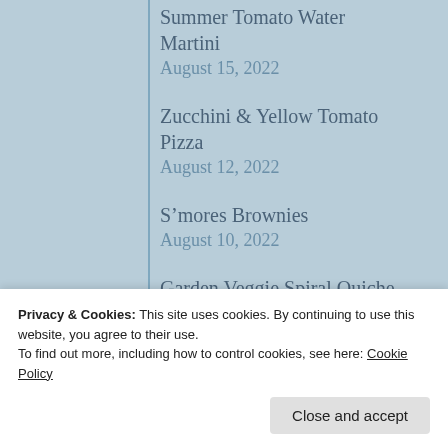Summer Tomato Water Martini
August 15, 2022
Zucchini & Yellow Tomato Pizza
August 12, 2022
S’mores Brownies
August 10, 2022
Garden Veggie Spiral Quiche
August 5, 2022
Privacy & Cookies: This site uses cookies. By continuing to use this website, you agree to their use.
To find out more, including how to control cookies, see here: Cookie Policy
Close and accept